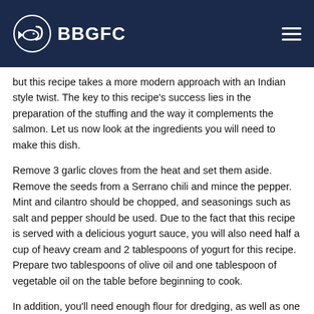BBGFC
but this recipe takes a more modern approach with an Indian style twist. The key to this recipe's success lies in the preparation of the stuffing and the way it complements the salmon. Let us now look at the ingredients you will need to make this dish.
Remove 3 garlic cloves from the heat and set them aside. Remove the seeds from a Serrano chili and mince the pepper. Mint and cilantro should be chopped, and seasonings such as salt and pepper should be used. Due to the fact that this recipe is served with a delicious yogurt sauce, you will also need half a cup of heavy cream and 2 tablespoons of yogurt for this recipe. Prepare two tablespoons of olive oil and one tablespoon of vegetable oil on the table before beginning to cook.
In addition, you'll need enough flour for dredging, as well as one ginger root that has been peeled and cut into very thin strips. Every one of these ingredients will be used in the preparation of four flounder fillets. As a result, you will have no trouble preparing meals for four people.